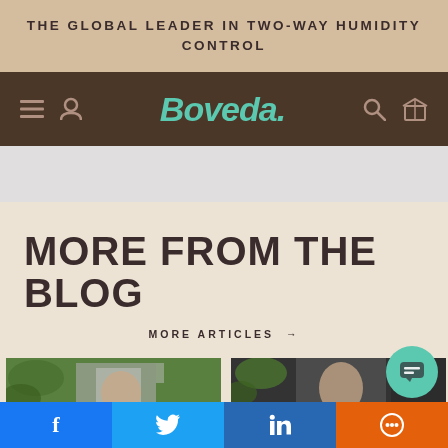THE GLOBAL LEADER IN TWO-WAY HUMIDITY CONTROL
[Figure (logo): Boveda brand navigation bar with hamburger menu, user icon, Boveda logo in teal italic, search icon, and box/cart icon on dark brown background]
MORE FROM THE BLOG
MORE ARTICLES →
[Figure (photo): Two thumbnail images side by side: left shows a man with dark beard in patterned shirt with palm leaf, right shows a woman with palm leaf in dark setting]
f  Twitter  in  chat